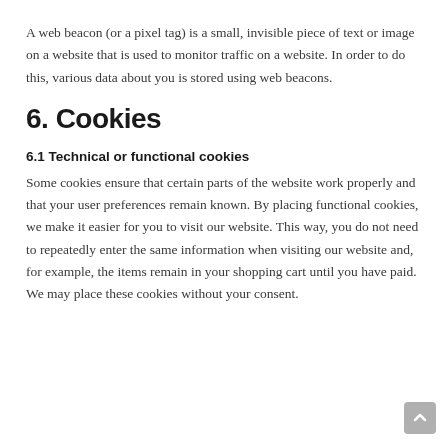A web beacon (or a pixel tag) is a small, invisible piece of text or image on a website that is used to monitor traffic on a website. In order to do this, various data about you is stored using web beacons.
6. Cookies
6.1 Technical or functional cookies
Some cookies ensure that certain parts of the website work properly and that your user preferences remain known. By placing functional cookies, we make it easier for you to visit our website. This way, you do not need to repeatedly enter the same information when visiting our website and, for example, the items remain in your shopping cart until you have paid. We may place these cookies without your consent.